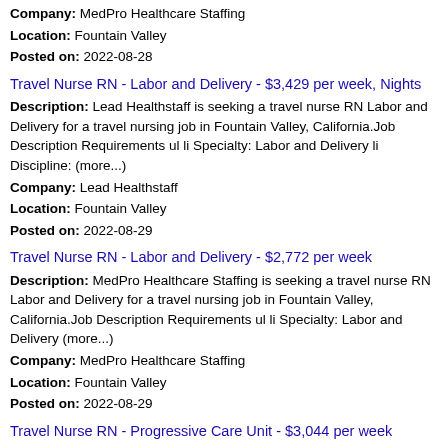Company: MedPro Healthcare Staffing
Location: Fountain Valley
Posted on: 2022-08-28
Travel Nurse RN - Labor and Delivery - $3,429 per week, Nights
Description: Lead Healthstaff is seeking a travel nurse RN Labor and Delivery for a travel nursing job in Fountain Valley, California.Job Description Requirements ul li Specialty: Labor and Delivery li Discipline: (more...)
Company: Lead Healthstaff
Location: Fountain Valley
Posted on: 2022-08-29
Travel Nurse RN - Labor and Delivery - $2,772 per week
Description: MedPro Healthcare Staffing is seeking a travel nurse RN Labor and Delivery for a travel nursing job in Fountain Valley, California.Job Description Requirements ul li Specialty: Labor and Delivery (more...)
Company: MedPro Healthcare Staffing
Location: Fountain Valley
Posted on: 2022-08-29
Travel Nurse RN - Progressive Care Unit - $3,044 per week
Description: Lead Healthstaff is seeking a travel nurse RN Progressive Care Unit for a travel nursing job in Fountain Valley,